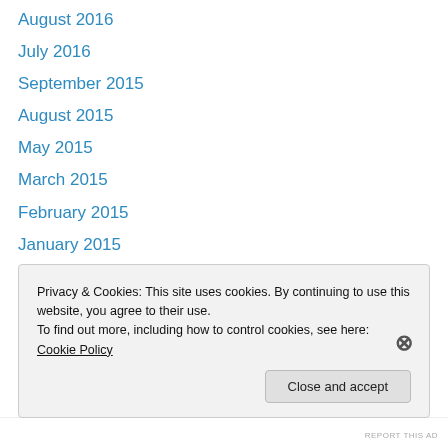August 2016
July 2016
September 2015
August 2015
May 2015
March 2015
February 2015
January 2015
December 2014
November 2014
October 2014
September 2014
Privacy & Cookies: This site uses cookies. By continuing to use this website, you agree to their use. To find out more, including how to control cookies, see here: Cookie Policy
Close and accept